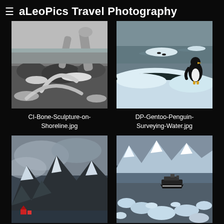≡  aLeoPics Travel Photography
[Figure (photo): Black and white photo of whale bone sculptures on a rocky shoreline covered in snow]
CI-Bone-Sculpture-on-Shoreline.jpg
[Figure (photo): Color photo of a Gentoo penguin standing on snow surveying water, with icebergs and dark water in background]
DP-Gentoo-Penguin-Surveying-Water.jpg
[Figure (photo): Color photo of snowy mountain landscape with cloudy sky and red buildings at base]
[Figure (photo): Color photo of a ship among floating ice and mountains in Antarctica]